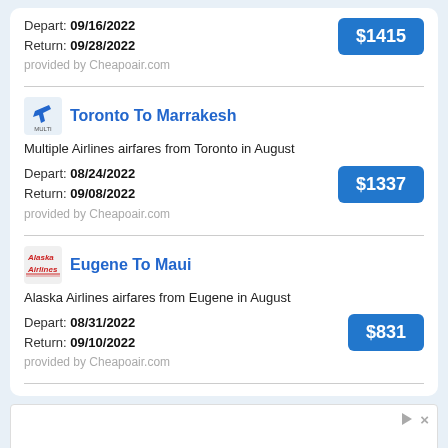Depart: 09/16/2022
Return: 09/28/2022
$1415
provided by Cheapoair.com
Toronto To Marrakesh
Multiple Airlines airfares from Toronto in August
Depart: 08/24/2022
Return: 09/08/2022
$1337
provided by Cheapoair.com
Eugene To Maui
Alaska Airlines airfares from Eugene in August
Depart: 08/31/2022
Return: 09/10/2022
$831
provided by Cheapoair.com